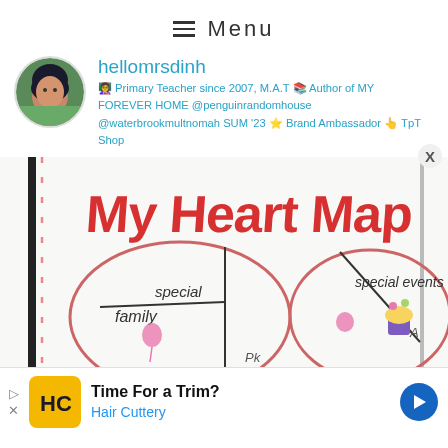≡  Menu
hellomrsdinh
👩‍🏫 Primary Teacher since 2007, M.A.T 📚 Author of MY FOREVER HOME @penguinrandomhouse @waterbrookmultnomah SUM '23 ⭐ Brand Ambassador 👆 TpT Shop
[Figure (photo): A photo of a bulletin board showing a 'My Heart Map' anchor chart with a heart divided into sections labeled 'family', 'special', 'special events', with colorful drawings inside each section]
Time For a Trim?
Hair Cuttery